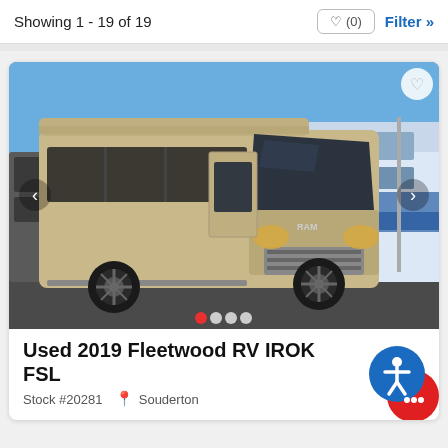Showing 1 - 19 of 19
[Figure (photo): Exterior photo of a tan/gold Fleetwood RV IROK FSL van conversion motorhome in a dealer lot, surrounded by other RVs including a Forest Coach. Blue sky background.]
Used 2019 Fleetwood RV IROK FSL
Stock #20281  Souderton